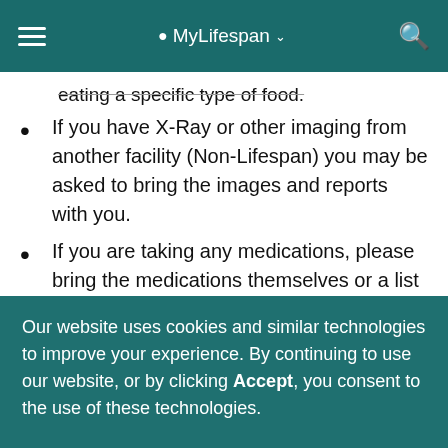MyLifespan
eating a specific type of food.
If you have X-Ray or other imaging from another facility (Non-Lifespan) you may be asked to bring the images and reports with you.
If you are taking any medications, please bring the medications themselves or a list of these medications, their doses and the
Our website uses cookies and similar technologies to improve your experience. By continuing to use our website, or by clicking Accept, you consent to the use of these technologies.